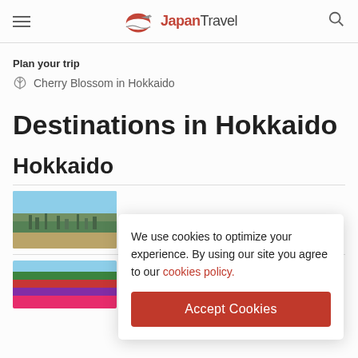Japan Travel
Plan your trip
Cherry Blossom in Hokkaido
Destinations in Hokkaido
Hokkaido
[Figure (photo): Aerial city view of Sapporo with mountains]
[Figure (photo): Colorful flower fields in Furano]
We use cookies to optimize your experience. By using our site you agree to our cookies policy.
Accept Cookies
Furano
The garden of Asia